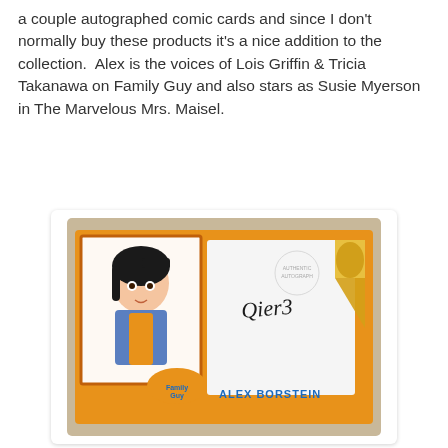a couple autographed comic cards and since I don't normally buy these products it's a nice addition to the collection.  Alex is the voices of Lois Griffin & Tricia Takanawa on Family Guy and also stars as Susie Myerson in The Marvelous Mrs. Maisel.
[Figure (photo): Photo of Alex Borstein autographed Family Guy comic card in a plastic case. Card shows animated character with dark hair in blue jacket on orange background, with a white signature area bearing a cursive signature and 'ALEX BORSTEIN' text, plus a gold foil authentication seal on the right.]
[Figure (photo): Partial photo of a second autographed comic card in a plastic case, showing animated characters with yellow and dark hair on a blue/yellow background, partially cut off at the bottom of the page.]